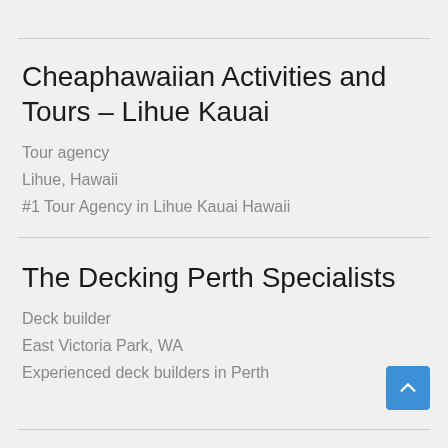Cheaphawaiian Activities and Tours – Lihue Kauai
Tour agency
Lihue, Hawaii
#1 Tour Agency in Lihue Kauai Hawaii
The Decking Perth Specialists
Deck builder
East Victoria Park, WA
Experienced deck builders in Perth